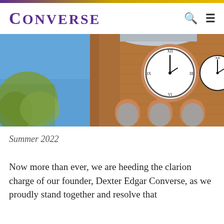CONVERSE
[Figure (photo): Upward-angle photograph of a brick clock tower building against a clear blue sky, with tree branches visible on the left side. The tower features a large clock face with Roman numerals and arched windows.]
Summer 2022
Now more than ever, we are heeding the clarion charge of our founder, Dexter Edgar Converse, as we proudly stand together and resolve that